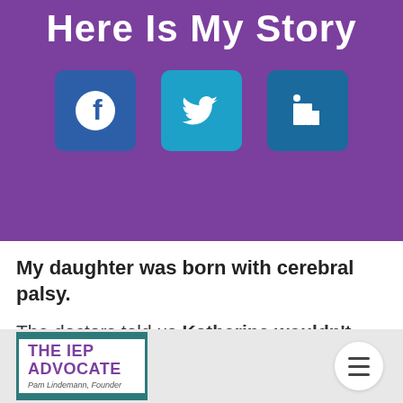Here Is My Story
[Figure (illustration): Three social media icons: Facebook (dark blue), Twitter (light blue), LinkedIn (dark blue) on purple background]
My daughter was born with cerebral palsy.
The doctors told us Katherine wouldn't live beyond her third birthday. We ignored them, took her home, and loved her with everything
[Figure (logo): THE IEP ADVOCATE logo with Pam Lindemann, Founder text and teal border stripes]